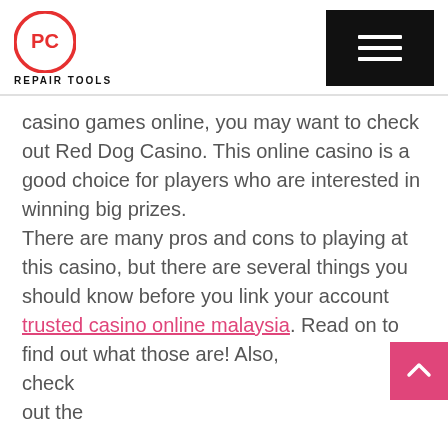PC REPAIR TOOLS
casino games online, you may want to check out Red Dog Casino. This online casino is a good choice for players who are interested in winning big prizes. There are many pros and cons to playing at this casino, but there are several things you should know before you link your account trusted casino online malaysia. Read on to find out what those are! Also, check out the